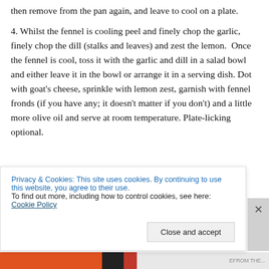then remove from the pan again, and leave to cool on a plate.
4. Whilst the fennel is cooling peel and finely chop the garlic, finely chop the dill (stalks and leaves) and zest the lemon.  Once the fennel is cool, toss it with the garlic and dill in a salad bowl and either leave it in the bowl or arrange it in a serving dish. Dot with goat's cheese, sprinkle with lemon zest, garnish with fennel fronds (if you have any; it doesn't matter if you don't) and a little more olive oil and serve at room temperature. Plate-licking optional.
Privacy & Cookies: This site uses cookies. By continuing to use this website, you agree to their use.
To find out more, including how to control cookies, see here: Cookie Policy
Close and accept